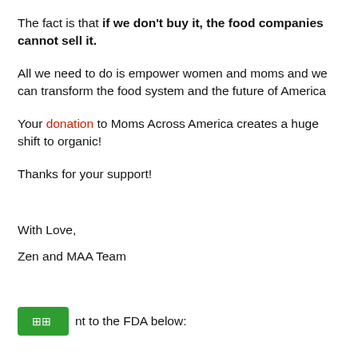The fact is that if we don't buy it, the food companies cannot sell it.
All we need to do is empower women and moms and we can transform the food system and the future of America
Your donation to Moms Across America creates a huge shift to organic!
Thanks for your support!
With Love,
Zen and MAA Team
nt to the FDA below: